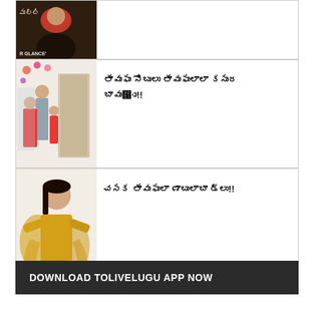[Figure (photo): Movie poster or still showing text 'R GLANCE' with a person in red dupatta and dark clothing]
[Figure (photo): Family photo with a man and two children in red outfits, standing in a decorated room]
Telugu text headline (article link title) with !!
[Figure (photo): Woman in a golden/yellow salwar suit posing]
Telugu text headline (article link title) with !!
DOWNLOAD TOLIVELUGU APP NOW